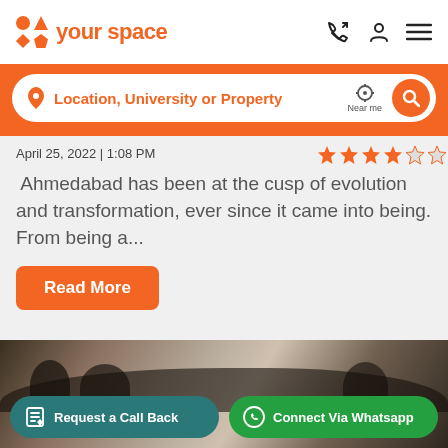your space
Location, University or Property
April 25, 2022 | 1:08 PM
Ahmedabad has been at the cusp of evolution and transformation, ever since it came into being. From being a...
Read More
[Figure (photo): Crowd of people in background with dark overlay, showing two CTA buttons: Request a Call Back and Connect Via Whatsapp]
Request a Call Back
Connect Via Whatsapp